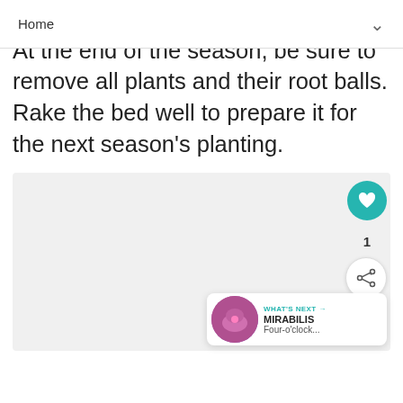Home
pla...n. At the end of the season, be sure to remove all plants and their root balls. Rake the bed well to prepare it for the next season's planting.
[Figure (other): Light gray content/image placeholder area]
WHAT'S NEXT → MIRABILIS Four-o'clock...